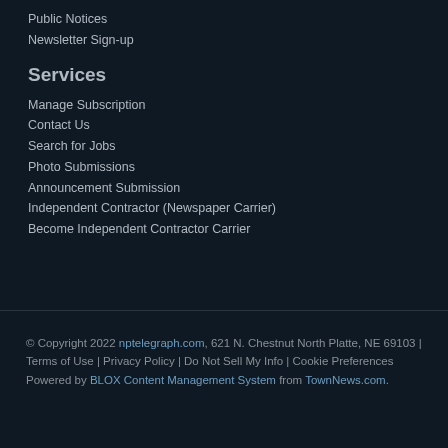Public Notices
Newsletter Sign-up
Services
Manage Subscription
Contact Us
Search for Jobs
Photo Submissions
Announcement Submission
Independent Contractor (Newspaper Carrier)
Become Independent Contractor Carrier
© Copyright 2022 nptelegraph.com, 621 N. Chestnut North Platte, NE 69103 | Terms of Use | Privacy Policy | Do Not Sell My Info | Cookie Preferences Powered by BLOX Content Management System from TownNews.com.